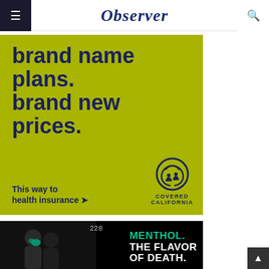Observer
[Figure (infographic): Covered California insurance advertisement on yellow-green background. Bold dark blue text reads 'brand name plans. brand new prices.' with tagline 'This way to health insurance >' and Covered California logo with people icon.]
[Figure (photo): Dark advertisement showing two people in black and white with teal text reading 'MENTHOL. THE FLAVOR OF DEATH.' Number 228 visible in background.]